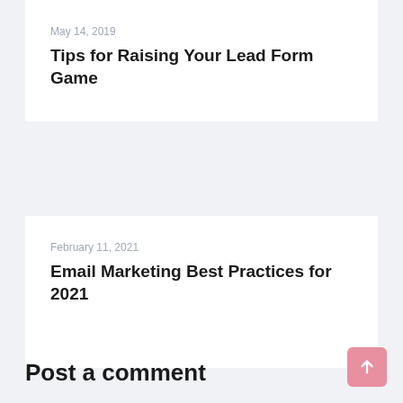May 14, 2019
Tips for Raising Your Lead Form Game
February 11, 2021
Email Marketing Best Practices for 2021
Post a comment